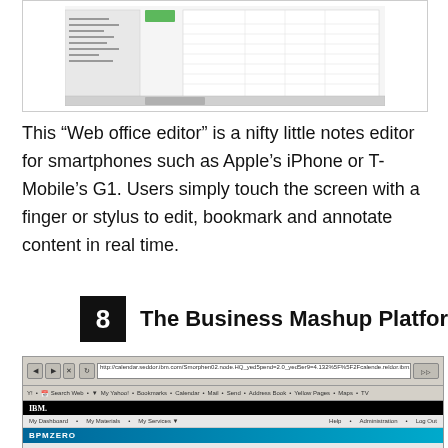[Figure (screenshot): Screenshot of a web office editor or spreadsheet application in a bordered box]
This “Web office editor” is a nifty little notes editor for smartphones such as Apple’s iPhone or T-Mobile’s G1. Users simply touch the screen with a finger or stylus to edit, bookmark and annotate content in real time.
8  The Business Mashup Platform
[Figure (screenshot): Screenshot of a web browser showing IBM BPMZero business mashup platform interface with dashboard navigation and BPMZERO logo banner]